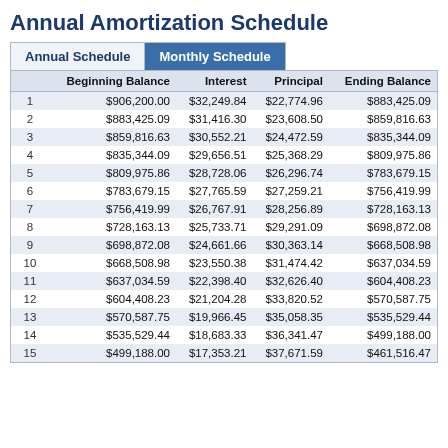Annual Amortization Schedule
|  | Beginning Balance | Interest | Principal | Ending Balance |
| --- | --- | --- | --- | --- |
| 1 | $906,200.00 | $32,249.84 | $22,774.96 | $883,425.09 |
| 2 | $883,425.09 | $31,416.30 | $23,608.50 | $859,816.63 |
| 3 | $859,816.63 | $30,552.21 | $24,472.59 | $835,344.09 |
| 4 | $835,344.09 | $29,656.51 | $25,368.29 | $809,975.86 |
| 5 | $809,975.86 | $28,728.06 | $26,296.74 | $783,679.15 |
| 6 | $783,679.15 | $27,765.59 | $27,259.21 | $756,419.99 |
| 7 | $756,419.99 | $26,767.91 | $28,256.89 | $728,163.13 |
| 8 | $728,163.13 | $25,733.71 | $29,291.09 | $698,872.08 |
| 9 | $698,872.08 | $24,661.66 | $30,363.14 | $668,508.98 |
| 10 | $668,508.98 | $23,550.38 | $31,474.42 | $637,034.59 |
| 11 | $637,034.59 | $22,398.40 | $32,626.40 | $604,408.23 |
| 12 | $604,408.23 | $21,204.28 | $33,820.52 | $570,587.75 |
| 13 | $570,587.75 | $19,966.45 | $35,058.35 | $535,529.44 |
| 14 | $535,529.44 | $18,683.33 | $36,341.47 | $499,188.00 |
| 15 | $499,188.00 | $17,353.21 | $37,671.59 | $461,516.47 |